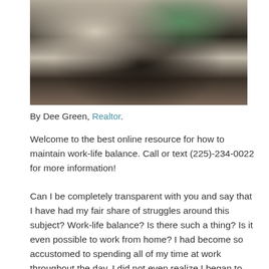[Figure (photo): Overhead/top-down view of a person at a desk with notebooks, papers, and green glasses visible on a dark surface]
By Dee Green, Realtor.
Welcome to the best online resource for how to maintain work-life balance. Call or text (225)-234-0022 for more information!
Can I be completely transparent with you and say that I have had my fair share of struggles around this subject? Work-life balance? Is there such a thing? Is it even possible to work from home? I had become so accustomed to spending all of my time at work throughout the day, I did not even realize I began to bring work home. The challenges